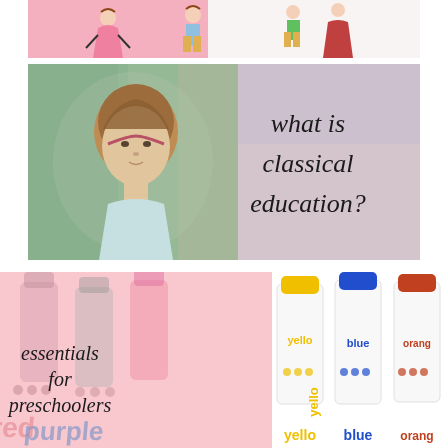[Figure (illustration): Top strip showing illustrated children figures on a pink and white background]
[Figure (photo): Impressionist-style painting of a young girl with brown hair on a green/teal background, with text 'what is classical education?' on the right side]
[Figure (photo): Bottom left pink panel with colorful marker pens in background and text 'essentials for preschoolers']
[Figure (photo): Bottom right panel showing three colorful marker pens (yellow, blue, orange) labeled with their colors]